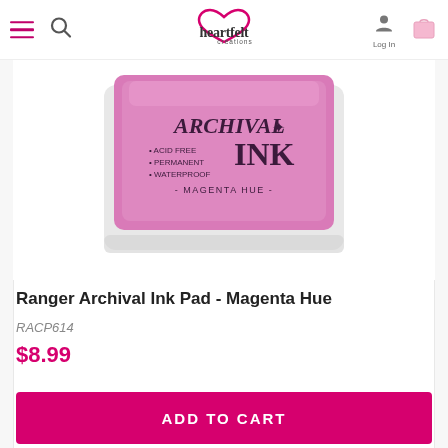Heartfelt Creations — navigation bar with hamburger menu, search, logo, log in, cart
[Figure (photo): Ranger Archival Ink Pad in Magenta Hue color — a pink/magenta ink pad with white tray, label reads: ARCHIVAL INK, Acid Free, Permanent, Waterproof, Magenta Hue]
Ranger Archival Ink Pad - Magenta Hue
RACP614
$8.99
ADD TO CART